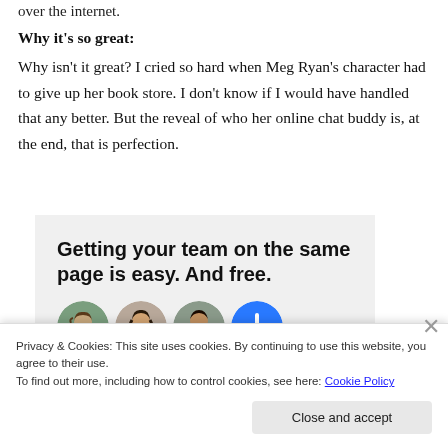over the internet.
Why it's so great:
Why isn't it great? I cried so hard when Meg Ryan's character had to give up her book store. I don't know if I would have handled that any better. But the reveal of who her online chat buddy is, at the end, that is perfection.
[Figure (infographic): Ad box with bold headline 'Getting your team on the same page is easy. And free.' with circular avatar photos below.]
Privacy & Cookies: This site uses cookies. By continuing to use this website, you agree to their use. To find out more, including how to control cookies, see here: Cookie Policy